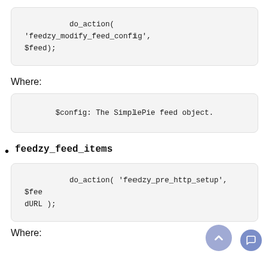[Figure (screenshot): Code block showing: do_action( 'feedzy_modify_feed_config', $feed);]
Where:
[Figure (screenshot): Code block showing: $config: The SimplePie feed object.]
feedzy_feed_items
[Figure (screenshot): Code block showing: do_action( 'feedzy_pre_http_setup', $feedURL );]
Where: